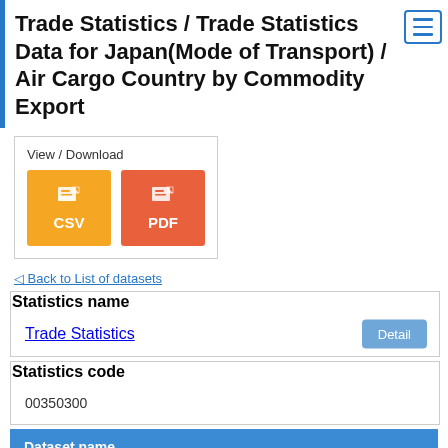Trade Statistics / Trade Statistics Data for Japan(Mode of Transport) / Air Cargo Country by Commodity Export
[Figure (other): View / Download buttons for CSV and PDF formats]
◁ Back to List of datasets
| Statistics name |
| --- |
| Trade Statistics | Detail |
| Statistics code |
| --- |
| 00350300 |
Dataset name